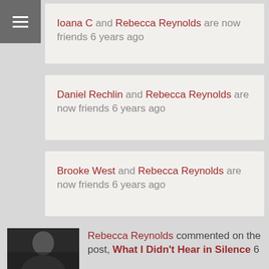[Figure (other): Hamburger menu icon (three horizontal white lines on dark gray background)]
Ioana C and Rebecca Reynolds are now friends 6 years ago
Daniel Rechlin and Rebecca Reynolds are now friends 6 years ago
Brooke West and Rebecca Reynolds are now friends 6 years ago
Rebecca Reynolds commented on the post, What I Didn't Hear in Silence 6